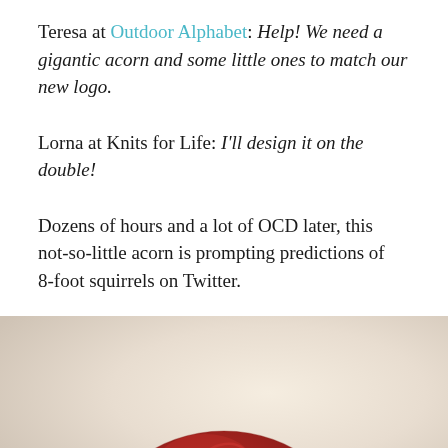Teresa at Outdoor Alphabet: Help! We need a gigantic acorn and some little ones to match our new logo.
Lorna at Knits for Life: I'll design it on the double!
Dozens of hours and a lot of OCD later, this not-so-little acorn is prompting predictions of 8-foot squirrels on Twitter.
[Figure (photo): A large red knitted acorn against a warm beige/cream background, photographed from above showing the rounded top of the acorn body.]